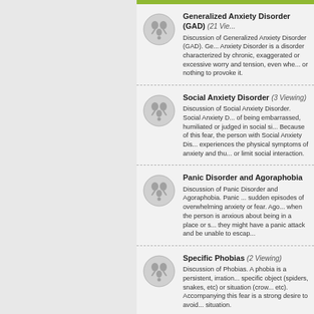Generalized Anxiety Disorder (GAD) (21 Viewing) Discussion of Generalized Anxiety Disorder (GAD). Generalized Anxiety Disorder is a disorder characterized by chronic, exaggerated or excessive worry and tension, even when there is little or nothing to provoke it.
Social Anxiety Disorder (3 Viewing) Discussion of Social Anxiety Disorder. Social Anxiety Disorder is a fear of being embarrassed, humiliated or judged in social situations. Because of this fear, the person with Social Anxiety Disorder experiences the physical symptoms of anxiety and thus tries to avoid or limit social interaction.
Panic Disorder and Agoraphobia Discussion of Panic Disorder and Agoraphobia. Panic Disorder involves sudden episodes of overwhelming anxiety or fear. Agoraphobia occurs when the person is anxious about being in a place or situation where they might have a panic attack and be unable to escape.
Specific Phobias (2 Viewing) Discussion of Phobias. A phobia is a persistent, irrational fear of a specific object (spiders, snakes, etc) or situation (crowds, heights, etc). Accompanying this fear is a strong desire to avoid the object or situation.
Post-Traumatic Stress Disorder (PTSD) (1 Viewing) Discussion of Post-Traumatic Stress Disorder. Post-Traumatic Stress Disorder is a disorder that often develops after exposure to a life-impacting event in which grave physical harm occurred or was threatened. Traumatic events that may trigger PTSD.